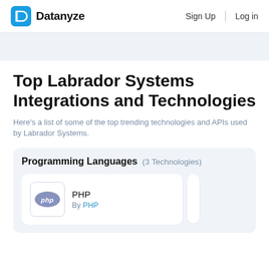Datanyze  Sign Up  Log in
Top Labrador Systems Integrations and Technologies
Here's a list of some of the top trending technologies and APIs used by Labrador Systems.
Programming Languages  (3 Technologies)
PHP
By PHP